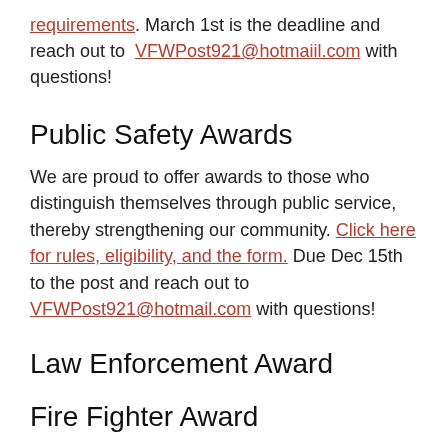requirements. March 1st is the deadline and reach out to VFWPost921@hotmaiil.com with questions!
Public Safety Awards
We are proud to offer awards to those who distinguish themselves through public service, thereby strengthening our community. Click here for rules, eligibility, and the form. Due Dec 15th to the post and reach out to VFWPost921@hotmail.com with questions!
Law Enforcement Award
Fire Fighter Award